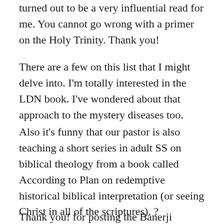turned out to be a very influential read for me. You cannot go wrong with a primer on the Holy Trinity. Thank you!
There are a few on this list that I might delve into. I'm totally interested in the LDN book. I've wondered about that approach to the mystery diseases too.
Also it's funny that our pastor is also teaching a short series in adult SS on biblical theology from a book called According to Plan on redemptive historical biblical interpretation (or seeing Christ in all of the scriptures). ?
Thank you! for posting the Banerji homeopathy book. I noticed some people